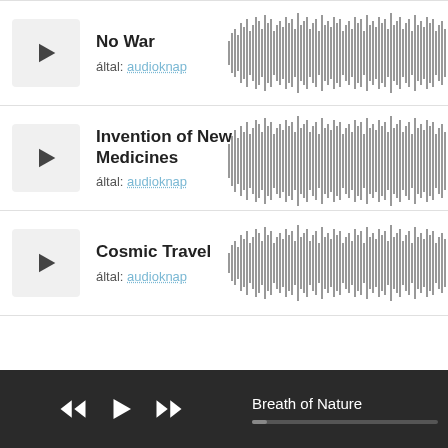[Figure (screenshot): Audio player track list UI showing three tracks: No War, Invention of New Medicines, Cosmic Travel, each with play button, title, author 'audioknap', and waveform visualization. Bottom player bar shows 'Breath of Nature' with transport controls.]
No War
által: audioknap
Invention of New Medicines
által: audioknap
Cosmic Travel
által: audioknap
Breath of Nature